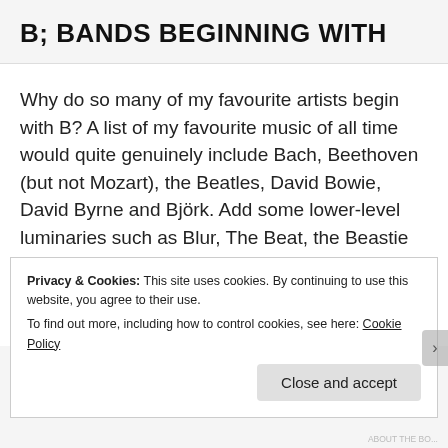B; BANDS BEGINNING WITH
Why do so many of my favourite artists begin with B? A list of my favourite music of all time would quite genuinely include Bach, Beethoven (but not Mozart), the Beatles, David Bowie, David Byrne and Björk. Add some lower-level luminaries such as Blur, The Beat, the Beastie Boys, Blondie and so on, and you have a phenomenon. No other letter
Privacy & Cookies: This site uses cookies. By continuing to use this website, you agree to their use.
To find out more, including how to control cookies, see here: Cookie Policy
Close and accept